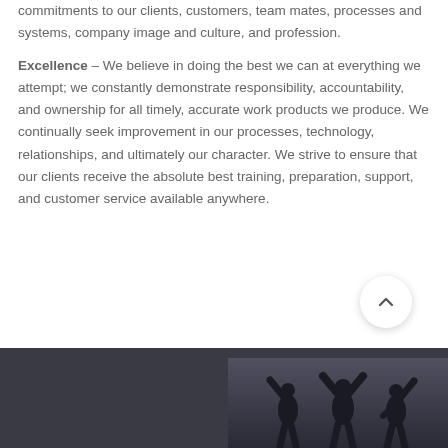commitments to our clients, customers, team mates, processes and systems, company image and culture, and profession.
Excellence – We believe in doing the best we can at everything we attempt; we constantly demonstrate responsibility, accountability, and ownership for all timely, accurate work products we produce. We continually seek improvement in our processes, technology, relationships, and ultimately our character. We strive to ensure that our clients receive the absolute best training, preparation, support, and customer service available anywhere.
[Figure (photo): Dark band at the bottom of the page showing silhouettes of people with arms raised against a cloudy sky background.]